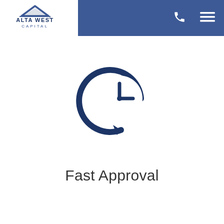Alta West Capital — navigation header with logo, phone icon, and menu icon
[Figure (illustration): Clock with a counter-clockwise arrow around it, representing fast approval — dark navy blue icon on white background]
Fast Approval